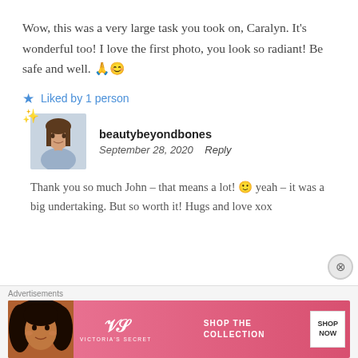Wow, this was a very large task you took on, Caralyn. It's wonderful too! I love the first photo, you look so radiant! Be safe and well. 🙏😊
★ Liked by 1 person
[Figure (photo): Avatar photo of beautybeyondbones user with sparkle emoji decoration]
beautybeyondbones
September 28, 2020   Reply
Thank you so much John – that means a lot! 🙂 yeah – it was a big undertaking. But so worth it! Hugs and love xox
[Figure (photo): Victoria's Secret advertisement banner with model photo, VS logo, 'SHOP THE COLLECTION' text and 'SHOP NOW' button]
Advertisements